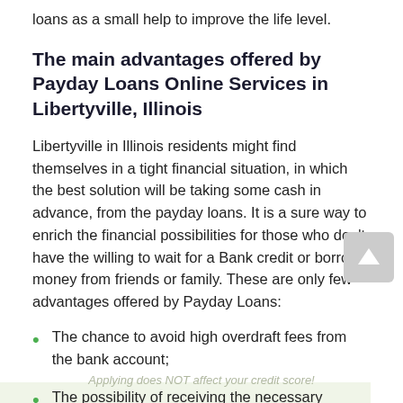loans as a small help to improve the life level.
The main advantages offered by Payday Loans Online Services in Libertyville, Illinois
Libertyville in Illinois residents might find themselves in a tight financial situation, in which the best solution will be taking some cash in advance, from the payday loans. It is a sure way to enrich the financial possibilities for those who don't have the willing to wait for a Bank credit or borrow money from friends or family. These are only few advantages offered by Payday Loans:
The chance to avoid high overdraft fees from the bank account;
The possibility of receiving the necessary money advance, only in one or two business days;
The quick Payday Loans No Credit Check system exempts from addition time spending;